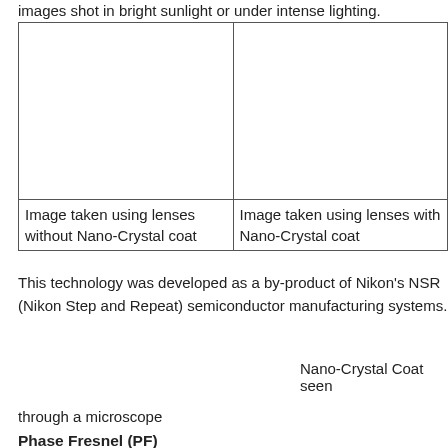images shot in bright sunlight or under intense lighting.
| [image] | [image] |
| Image taken using lenses without Nano-Crystal coat | Image taken using lenses with Nano-Crystal coat |
This technology was developed as a by-product of Nikon's NSR (Nikon Step and Repeat) semiconductor manufacturing systems.
Nano-Crystal Coat seen
through a microscope
Phase Fresnel (PF)